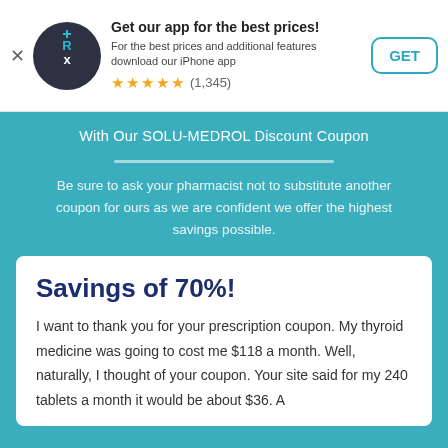[Figure (logo): RxSaver app icon — dark circle with Rx symbol in teal/white]
Get our app for the best prices! For the best prices and additional features download our iPhone app ★★★★★ (1,345)
GET
With Our SOLU-MEDROL Discount Coupon
Be sure to ask your pharmacist not to substitute another coupon for ours as we are confident we offer the highest savings possible.
Savings of 70%!
I want to thank you for your prescription coupon. My thyroid medicine was going to cost me $118 a month. Well, naturally, I thought of your coupon. Your site said for my 240 tablets a month it would be about $36. A